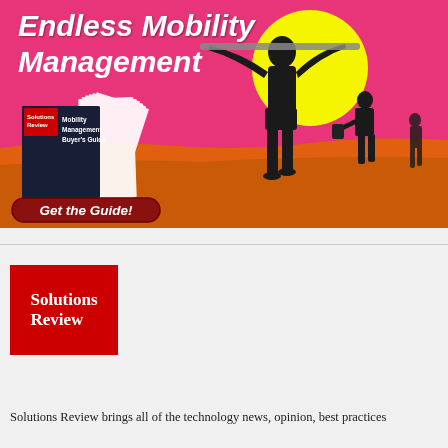[Figure (infographic): Advertisement banner with pink/magenta background, silhouettes of people on a beach carrying devices, yellow sun circle, orange ground/sand, stack of fanned white pages, book cover for 'Mobility Management Buyer's Guide' with Solutions Review branding, bold italic white title 'Endless Mobility Management', and a dark red 'Get the Guide!' call-to-action button.]
[Figure (logo): Solutions Review logo: white text 'Solutions Review' on a red square background.]
Solutions Review brings all of the technology news, opinion, best practices